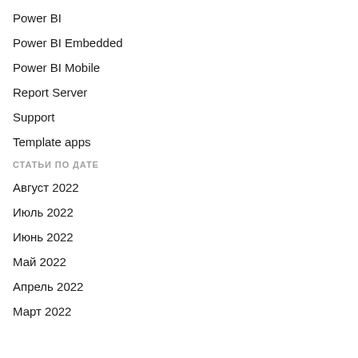Power BI
Power BI Embedded
Power BI Mobile
Report Server
Support
Template apps
СТАТЬИ ПО ДАТЕ
Август 2022
Июль 2022
Июнь 2022
Май 2022
Апрель 2022
Март 2022